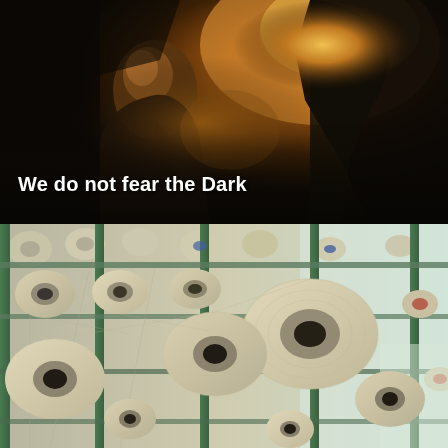[Figure (photo): Dark, dramatic scene with warm amber/orange backlighting showing silhouettes of people, one bald man leaning forward illuminated by the warm glow]
We do not fear the Dark
[Figure (photo): Industrial textile factory scene showing rows of large spools/bobbins of beige/natural yarn on green metal frames/creel stands]